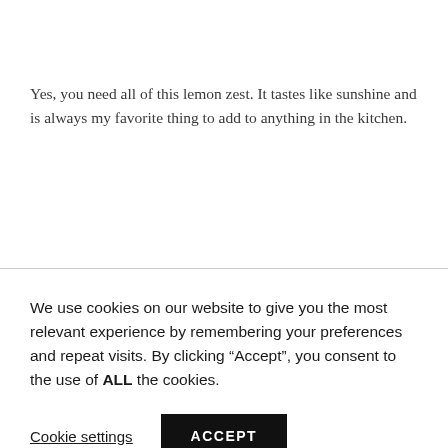Yes, you need all of this lemon zest. It tastes like sunshine and is always my favorite thing to add to anything in the kitchen.
We use cookies on our website to give you the most relevant experience by remembering your preferences and repeat visits. By clicking “Accept”, you consent to the use of ALL the cookies.